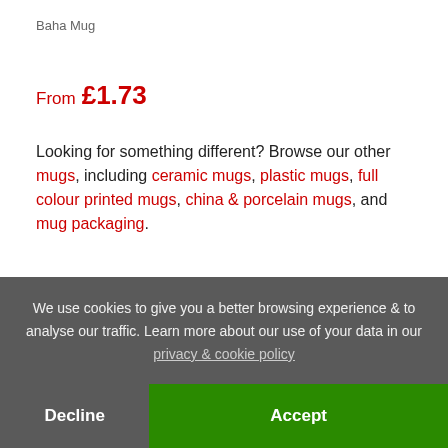Baha Mug
From £1.73
Looking for something different? Browse our other mugs, including ceramic mugs, plastic mugs, full colour printed mugs, china & porcelain mugs, and mug packaging.
Others were interested in
[Figure (photo): Partial product thumbnail images partially obscured by cookie banner]
We use cookies to give you a better browsing experience & to analyse our traffic. Learn more about our use of your data in our privacy & cookie policy
Decline
Accept